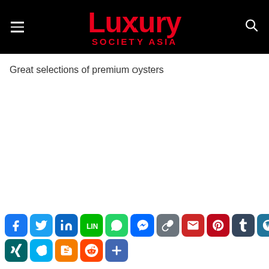Luxury Society Asia
Great selections of premium oysters
[Figure (other): Social media share buttons: Facebook, Twitter, LinkedIn, LINE, WhatsApp, Messenger, Copy Link, Gmail, Pinterest, Tumblr, WordPress, XING, Skype, Blogger, Reddit, More]